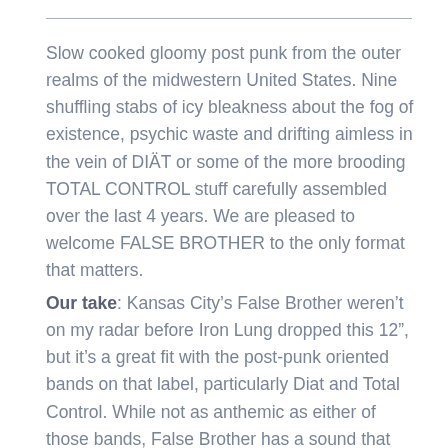Slow cooked gloomy post punk from the outer realms of the midwestern United States. Nine shuffling stabs of icy bleakness about the fog of existence, psychic waste and drifting aimless in the vein of DIÄT or some of the more brooding TOTAL CONTROL stuff carefully assembled over the last 4 years. We are pleased to welcome FALSE BROTHER to the only format that matters.
Our take: Kansas City's False Brother weren't on my radar before Iron Lung dropped this 12", but it's a great fit with the post-punk oriented bands on that label, particularly Diat and Total Control. While not as anthemic as either of those bands, False Brother has a sound that splits the difference between minimal synth and classic post-punk, reminding me of the early